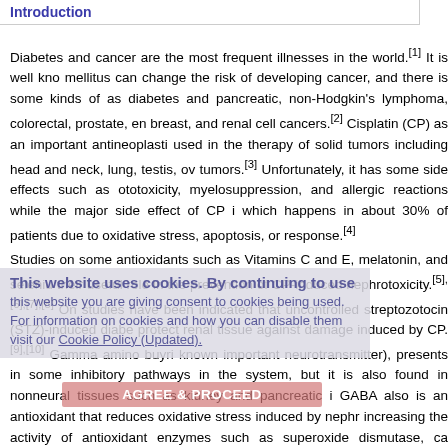Introduction
Diabetes and cancer are the most frequent illnesses in the world.[1] It is well kno... mellitus can change the risk of developing cancer, and there is some kinds of as... diabetes and pancreatic, non-Hodgkin's lymphoma, colorectal, prostate, en... breast, and renal cell cancers.[2] Cisplatin (CP) as an important antineoplasti... used in the therapy of solid tumors including head and neck, lung, testis, ov... tumors.[3] Unfortunately, it has some side effects such as ototoxicity, myelosuppression, and allergic reactions while the major side effect of CP i... which happens in about 30% of patients due to oxidative stress, apoptosis, or response.[4] Studies on some antioxidants such as Vitamins C and E, melatonin, and seleniu... their useful role in the prevention of CP-induced nephrotoxicity.[5],[6],[7],[8] On studies have been indicated that uncontrolled streptozotocin (STZ)-induced diabe... protect renal tissue against damage induced by CP.[9],[10] Gamma amino buyri... known important neurotransmitter), presents in some inhibitory pathways in the system, but it is also found in nonneural tissues such as kidney and pancreatic i... GABA also is an antioxidant that reduces oxidative stress induced by nephr... increasing the activity of antioxidant enzymes such as superoxide dismutase, ca... decreasing lipid peroxidation.[14] It is reported that GABA has protective
This website uses cookies. By continuing to use this website you are giving consent to cookies being used. For information on cookies and how you can disable them visit our Cookie Policy (Updated).
AGREE & PROCEED